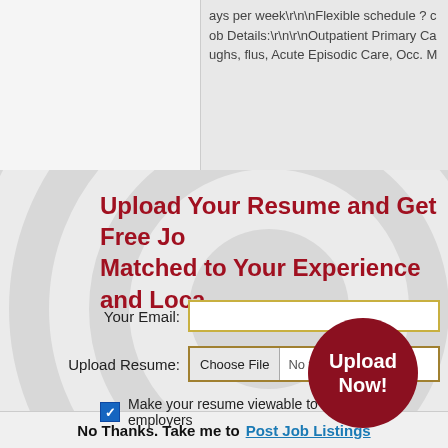ays per week\r\n\nFlexible schedule ? c ob Details:\r\n\r\nOutpatient Primary Ca ughs, flus, Acute Episodic Care, Occ. M
Upload Your Resume and Get Free Jo Matched to Your Experience and Loca
[Figure (infographic): A form with email input, file upload input, and a checkbox for making resume viewable to employers, plus a circular Upload Now button on a background of concentric circles]
No Thanks. Take me to Post Job Listings